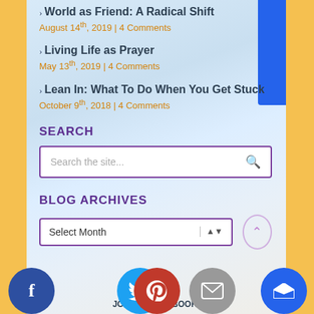World as Friend: A Radical Shift
August 14th, 2019 | 4 Comments
Living Life as Prayer
May 13th, 2019 | 4 Comments
Lean In: What To Do When You Get Stuck
October 9th, 2018 | 4 Comments
SEARCH
Search the site...
BLOG ARCHIVES
Select Month
JOIN US ON FACEBOOK!